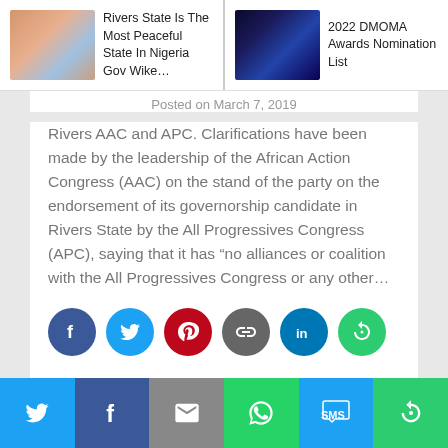Rivers State Is The Most Peaceful State In Nigeria Gov Wike | 2022 DMOMA Awards Nomination List
Posted on March 7, 2019
Rivers AAC and APC. Clarifications have been made by the leadership of the African Action Congress (AAC) on the stand of the party on the endorsement of its governorship candidate in Rivers State by the All Progressives Congress (APC), saying that it has “no alliances or coalition with the All Progressives Congress or any other…
[Figure (infographic): Social share icons: Facebook (blue circle), Twitter (light blue circle), Pinterest (red circle), Link/Copy (gray circle), LinkedIn (blue circle), Rotate/More (green circle)]
Share buttons: Twitter, Facebook, Email, WhatsApp, SMS, More